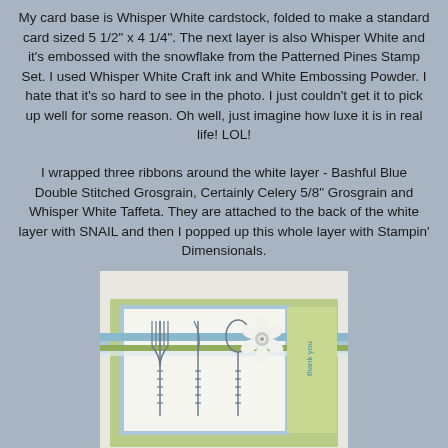My card base is Whisper White cardstock, folded to make a standard card sized 5 1/2" x 4 1/4". The next layer is also Whisper White and it's embossed with the snowflake from the Patterned Pines Stamp Set. I used Whisper White Craft ink and White Embossing Powder. I hate that it's so hard to see in the photo. I just couldn't get it to pick up well for some reason. Oh well, just imagine how luxe it is in real life! LOL!
I wrapped three ribbons around the white layer - Bashful Blue Double Stitched Grosgrain, Certainly Celery 5/8" Grosgrain and Whisper White Taffeta. They are attached to the back of the white layer with SNAIL and then I popped up this whole layer with Stampin' Dimensionals.
[Figure (photo): A handmade thank-you card featuring stamped silverware (fork, knife, spoon) on white cardstock, layered with blue and green grosgrain ribbons, and a white flower embellishment with a silver brad center. The card reads 'thank you' in blue on the right side.]